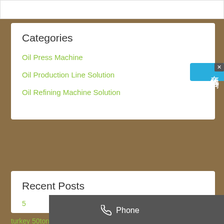Categories
Oil Press Machine
Oil Production Line Solution
Oil Refining Machine Solution
Recent Posts
5... oil press machines
m... automatic small cold press oil m...
turkey 50tonnes per day edible seed oil production lines
[Figure (screenshot): Contact overlay with Phone, Email, and Whatsapp dark buttons and a Chinese language consultation button (在线咨询) on the right side]